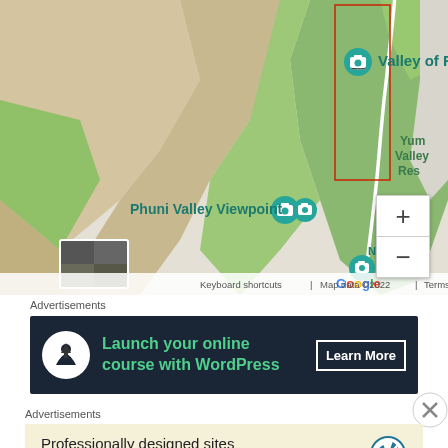[Figure (map): Google Maps screenshot showing Valley of Flowers area in India, with green terrain, a red rectangle marking a trail, a winding white path, location pins for 'Valley of Flowers' and 'Phuni Valley Viewpoint', zoom controls, a small satellite thumbnail, Google logo, and map attribution 'Map data ©2022 Terms of Use'.]
Advertisements
[Figure (infographic): Dark-themed advertisement banner: circular white icon with a tree/person silhouette, green text 'Launch your online course with WordPress', white 'Learn More' button on right.]
[Figure (other): Close (X) button circle on the right side.]
Advertisements
[Figure (infographic): Light beige advertisement banner: text 'Professionally designed sites in less than a week' with WordPress logo on the right.]